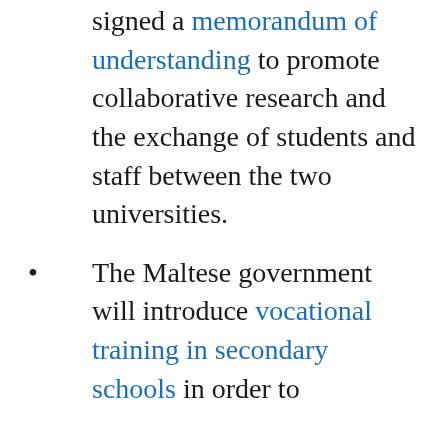signed a memorandum of understanding to promote collaborative research and the exchange of students and staff between the two universities.
The Maltese government will introduce vocational training in secondary schools in order to